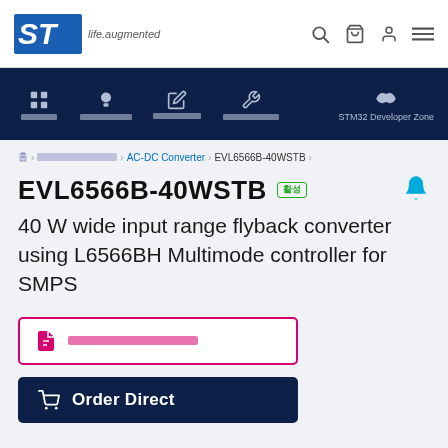STMicroelectronics — life.augmented
Home > [breadcrumb] > AC-DC Converter > EVL6566B-40WSTB
EVL6566B-40WSTB
40 W wide input range flyback converter using L6566BH Multimode controller for SMPS
[Document button placeholder]
Order Direct